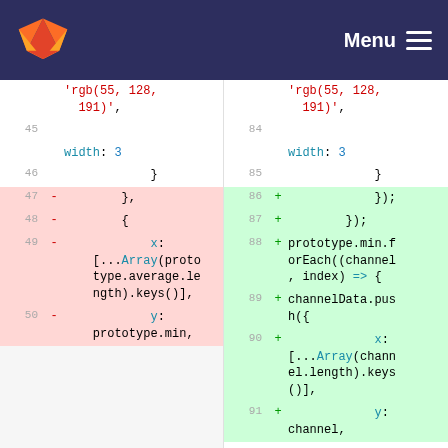GitLab nav bar with logo and Menu
[Figure (screenshot): GitLab diff view showing code changes. Left side (old) lines 45-50, right side (new) lines 84-91.]